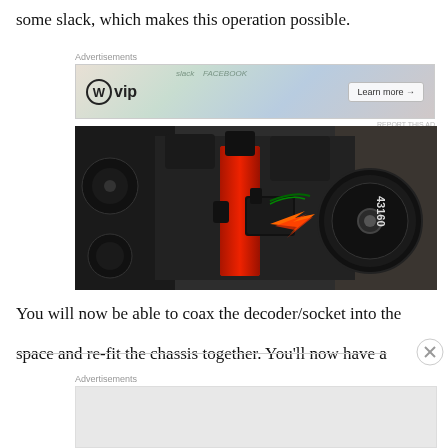some slack, which makes this operation possible.
[Figure (screenshot): WordPress VIP advertisement banner with 'Learn more →' button and overlaid stock/Facebook/currency imagery]
[Figure (photo): Close-up photo of a model train mechanism showing red and black components, with an orange/red arrow indicator and a wheel marked 43160]
You will now be able to coax the decoder/socket into the space and re-fit the chassis together. You'll now have a
[Figure (screenshot): Advertisements banner placeholder (gray area)]